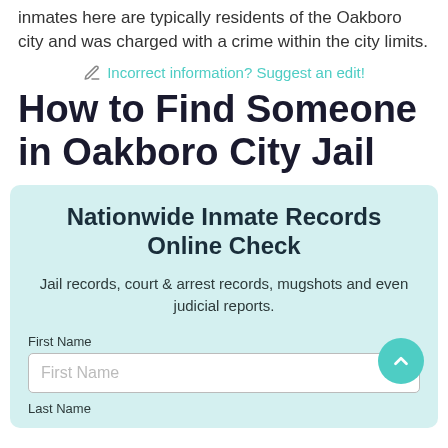inmates here are typically residents of the Oakboro city and was charged with a crime within the city limits.
✏ Incorrect information? Suggest an edit!
How to Find Someone in Oakboro City Jail
Nationwide Inmate Records Online Check
Jail records, court & arrest records, mugshots and even judicial reports.
First Name
Last Name